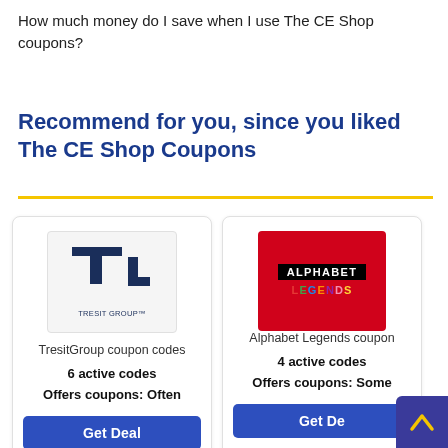How much money do I save when I use The CE Shop coupons?
Recommend for you, since you liked The CE Shop Coupons
[Figure (logo): TresitGroup logo — dark blue T and L shapes forming a stylized icon, with 'TRESIT GROUP™' text below]
TresitGroup coupon codes
6 active codes
Offers coupons: Often
Get Deal
[Figure (logo): Alphabet Legends logo — red background with black bar reading ALPHABET and colorful letters spelling LEGENDS]
Alphabet Legends coupon
4 active codes
Offers coupons: Some
Get Deal